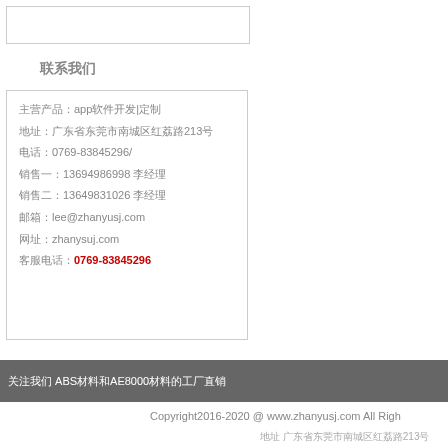[Figure (other): Empty white box with border at top]
联系我们
主营产品：app软件开发|定制
地址：广东省东莞市南城区红荔路213号
电话：0769-83845296/
销售一：13694986998 李经理
销售二：13649831026 李经理
邮箱：lee@zhanyusj.com
网址：zhanysuj.com
客服电话：0769-83845296
关注我们 ABS材料和AE8000材料的工厂直销
Copyright2016-2020 @ www.zhanyusj.com All Rights
地址 广东省东莞市南城区红荔路213号  电话
联系我们